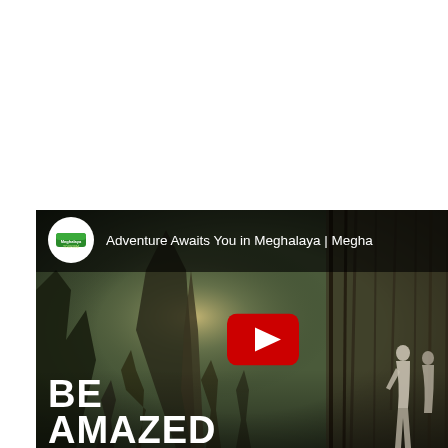[Figure (screenshot): YouTube video thumbnail/embed for 'Adventure Awaits You in Meghalaya | Meghalaya Tourism' video. Shows a forest scene with large tree roots/living root bridges, two people in the background, a YouTube play button in the center, the Meghalaya Tourism channel logo (circular white badge with green logo), and bold white text 'BE AMAZED' in the lower left.]